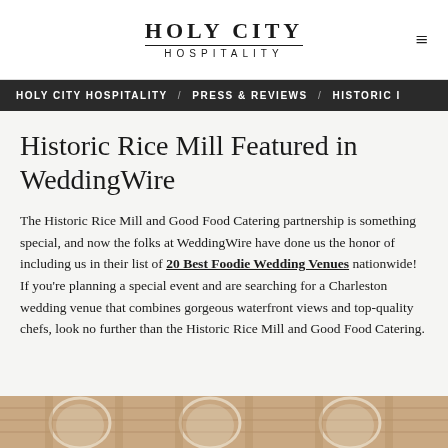HOLY CITY HOSPITALITY
HOLY CITY HOSPITALITY / PRESS & REVIEWS / HISTORIC I
Historic Rice Mill Featured in WeddingWire
The Historic Rice Mill and Good Food Catering partnership is something special, and now the folks at WeddingWire have done us the honor of including us in their list of 20 Best Foodie Wedding Venues nationwide! If you're planning a special event and are searching for a Charleston wedding venue that combines gorgeous waterfront views and top-quality chefs, look no further than the Historic Rice Mill and Good Food Catering.
[Figure (photo): Bottom portion of a photo showing arched windows of the Historic Rice Mill building with brick and stone architecture]